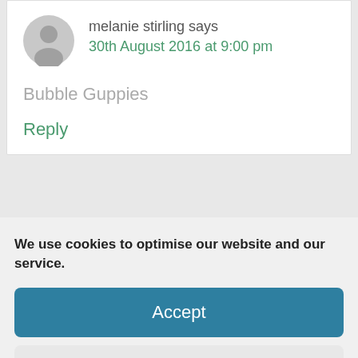melanie stirling says
30th August 2016 at 9:00 pm
Bubble Guppies
Reply
We use cookies to optimise our website and our service.
Accept
Dismiss
Preferences